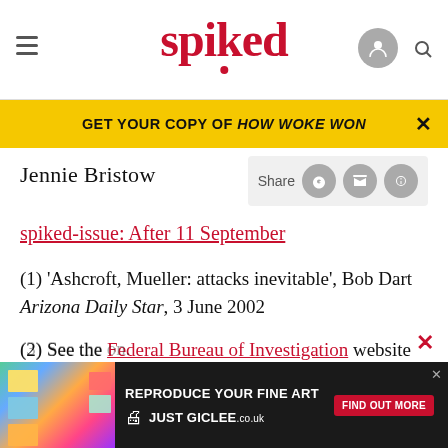spiked
GET YOUR COPY OF HOW WOKE WON
Jennie Bristow
spiked-issue: After 11 September
(1) 'Ashcroft, Mueller: attacks inevitable', Bob Dart Arizona Daily Star, 3 June 2002
(2) See the Federal Bureau of Investigation website
(3) See the ... on.
[Figure (screenshot): Advertisement banner for 'Reproduce Your Fine Art - Just Giclee' with colorful sticky notes on left, dark background, and Find Out More button]